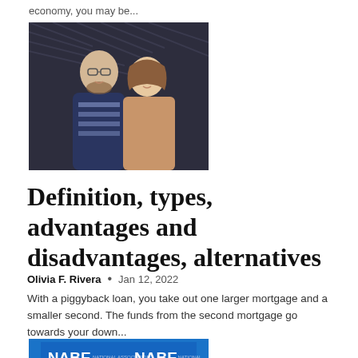economy, you may be...
[Figure (photo): A couple smiling in front of a dark-colored house exterior]
Definition, types, advantages and disadvantages, alternatives
Olivia F. Rivera  •  Jan 12, 2022
With a piggyback loan, you take out one larger mortgage and a smaller second. The funds from the second mortgage go towards your down...
[Figure (photo): NABE logo banner with a person partially visible below]